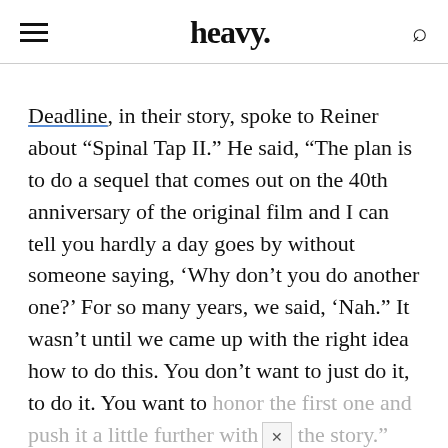heavy.
Deadline, in their story, spoke to Reiner about “Spinal Tap II.” He said, “The plan is to do a sequel that comes out on the 40th anniversary of the original film and I can tell you hardly a day goes by without someone saying, ‘Why don’t you do another one?’ For so many years, we said, ‘Nah.” It wasn’t until we came up with the right idea how to do this. You don’t want to just do it, to do it. You want to honor the first one and push it a little further with the story.”